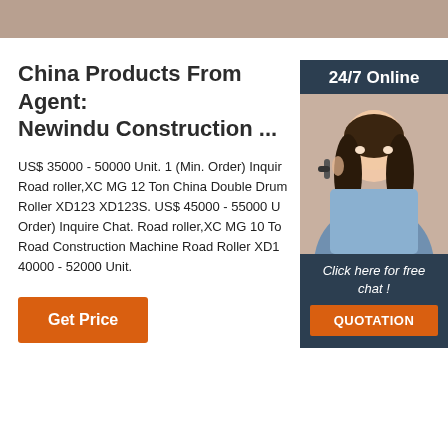[Figure (photo): Tan/brown header banner strip at top of page]
China Products From Agent: Newindu Construction ...
US$ 35000 - 50000 Unit. 1 (Min. Order) Inquire Road roller,XC MG 12 Ton China Double Drum Roller XD123 XD123S. US$ 45000 - 55000 Unit (Min. Order) Inquire Chat. Road roller,XC MG 10 Ton Road Construction Machine Road Roller XD10... 40000 - 52000 Unit.
[Figure (infographic): Sidebar widget with dark navy background showing '24/7 Online' label, photo of female customer service agent wearing headset, 'Click here for free chat!' italic text, and orange QUOTATION button]
Get Price